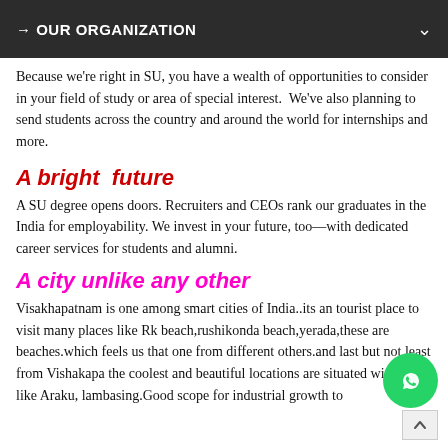→ OUR ORGANIZATION
Because we're right in SU, you have a wealth of opportunities to consider in your field of study or area of special interest.  We've also planning to send students across the country and around the world for internships and more.
A bright  future
A SU degree opens doors. Recruiters and CEOs rank our graduates in the India for employability. We invest in your future, too—with dedicated career services for students and alumni.
A city unlike any other
Visakhapatnam is one among smart cities of India..its an tourist place to visit many places like Rk beach,rushikonda beach,yerada,these are beaches.which feels us that one from different others.and last but not least from Vishakapa... the coolest and beautiful locations are situated with na... like Araku, lambasing.Good scope for industrial growth to